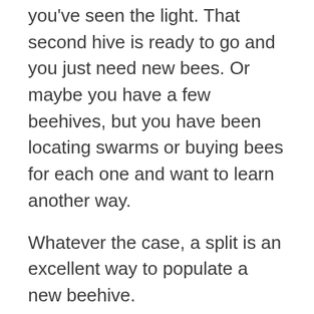you've seen the light. That second hive is ready to go and you just need new bees. Or maybe you have a few beehives, but you have been locating swarms or buying bees for each one and want to learn another way.
Whatever the case, a split is an excellent way to populate a new beehive.
Raise a Queen
We will look look at raising queens in